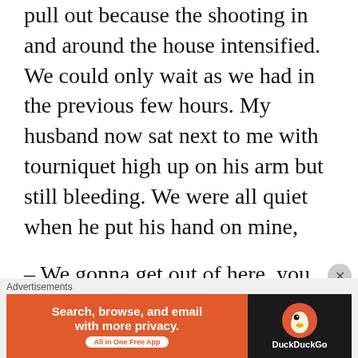pull out because the shooting in and around the house intensified. We could only wait as we had in the previous few hours. My husband now sat next to me with tourniquet high up on his arm but still bleeding. We were all quiet when he put his hand on mine,
– We gonna get out of here, you know.
– I know – I said, thinking – No, we won't...
We went quiet again and just sat there. I felt as if I
Advertisements
[Figure (screenshot): DuckDuckGo advertisement banner: orange left panel with text 'Search, browse, and email with more privacy. All in One Free App' and dark right panel with DuckDuckGo duck logo]